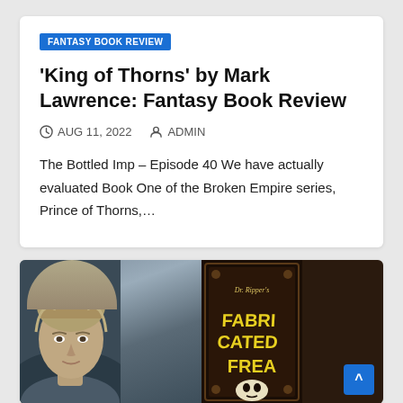FANTASY BOOK REVIEW
'King of Thorns' by Mark Lawrence: Fantasy Book Review
AUG 11, 2022   ADMIN
The Bottled Imp – Episode 40 We have actually evaluated Book One of the Broken Empire series, Prince of Thorns,…
[Figure (photo): Photo of a man with blond hair on the left side, and a book cover for 'Dr. Ripper's Fabricated Freaks' on the right side]